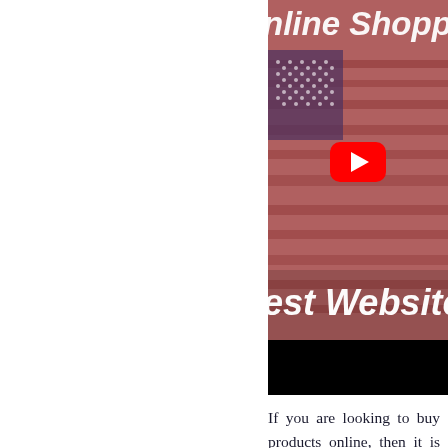[Figure (screenshot): YouTube video thumbnail showing a waving American flag on a reddish-brown background. White bold text partially visible: 'nline Shoppi' at the top and 'est Websites' in the lower portion. A red YouTube play button is centered on the image. A black bar appears at the bottom of the thumbnail.]
If you are looking to buy products online, then it is important that you choose the right e-commerce marketplace. There are many websites available today that offer various products and services. You can find everything from